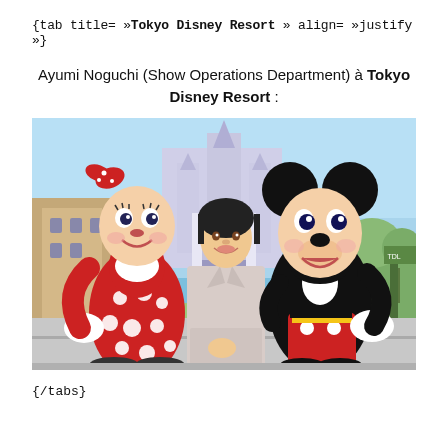{tab title= »Tokyo Disney Resort » align= »justify »}
Ayumi Noguchi (Show Operations Department) à Tokyo Disney Resort :
[Figure (photo): Photo of a young woman in a light pink/beige blazer standing between Minnie Mouse (left, in red polka-dot dress) and Mickey Mouse (right, in classic red shorts and black tuxedo jacket), in front of Cinderella Castle at Tokyo Disneyland on a clear blue-sky day.]
{/tabs}